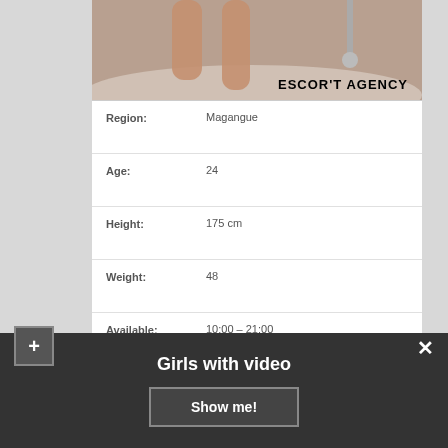[Figure (photo): Partial view of a person in a bathtub with shower fixtures. Text overlay reads ESCORT AGENCY in bold black letters.]
| Region: | Magangue |
| Age: | 24 |
| Height: | 175 cm |
| Weight: | 48 |
| Available: | 10:00 – 21:00 |
| Body: | 91-59-89 |
| Sex services: | Spanking (giving), Sub Games, Massage anti-stress ♠ |
Girls with video
Show me!